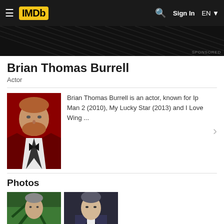IMDb | Sign In | EN
[Figure (screenshot): IMDb navigation bar with hamburger menu, IMDb logo, search icon, Sign In button, and EN language selector on dark background]
[Figure (photo): Dark ad banner with diagonal lines and SPONSORED label]
Brian Thomas Burrell
Actor
[Figure (photo): Headshot of Brian Thomas Burrell wearing a red tuxedo jacket with black lapels and bow tie, ginger beard]
Brian Thomas Burrell is an actor, known for Ip Man 2 (2010), My Lucky Star (2013) and I Love Wing ...
Photos
[Figure (photo): Photo thumbnail of a man in front of green palm leaves]
[Figure (photo): Photo thumbnail of a man in a dark suit against dark background]